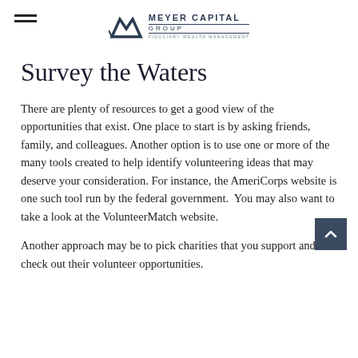Meyer Capital Group — Fiduciary Wealth Management
Survey the Waters
There are plenty of resources to get a good view of the opportunities that exist. One place to start is by asking friends, family, and colleagues. Another option is to use one or more of the many tools created to help identify volunteering ideas that may deserve your consideration. For instance, the AmeriCorps website is one such tool run by the federal government.  You may also want to take a look at the VolunteerMatch website.
Another approach may be to pick charities that you support and check out their volunteer opportunities.